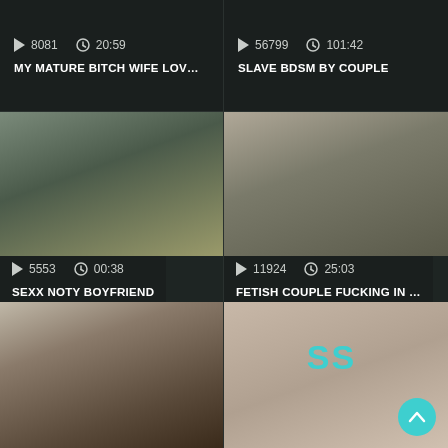8081  20:59
MY MATURE BITCH WIFE LOV...
56799  101:42
SLAVE BDSM BY COUPLE
[Figure (photo): Video thumbnail showing two people on a sofa]
[Figure (photo): Video thumbnail showing a blonde woman in black outfit]
5553  00:38
SEXX NOTY BOYFRIEND
11924  25:03
FETISH COUPLE FUCKING IN ...
[Figure (photo): Video thumbnail showing people in a dungeon setting]
[Figure (photo): Close-up thumbnail with SS watermark and scroll-to-top button]